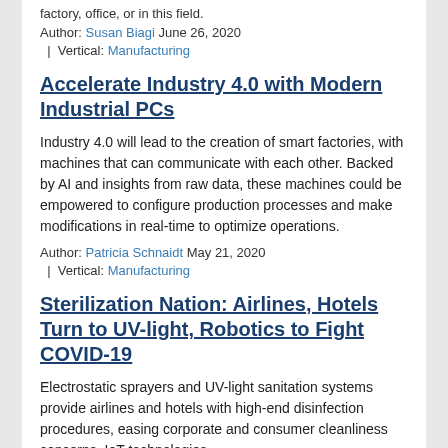Author: Susan Biagi June 26, 2020
| Vertical: Manufacturing
Accelerate Industry 4.0 with Modern Industrial PCs
Industry 4.0 will lead to the creation of smart factories, with machines that can communicate with each other. Backed by AI and insights from raw data, these machines could be empowered to configure production processes and make modifications in real-time to optimize operations.
Author: Patricia Schnaidt May 21, 2020
| Vertical: Manufacturing
Sterilization Nation: Airlines, Hotels Turn to UV-light, Robotics to Fight COVID-19
Electrostatic sprayers and UV-light sanitation systems provide airlines and hotels with high-end disinfection procedures, easing corporate and consumer cleanliness concerns. IoT technologies,